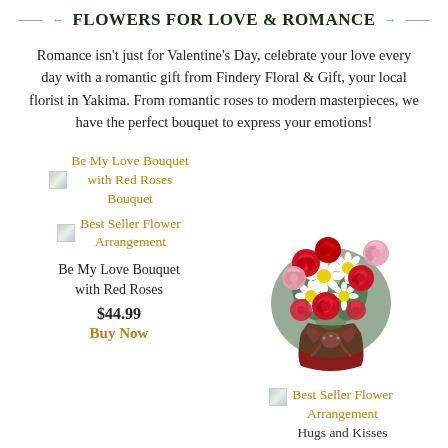FLOWERS FOR LOVE & ROMANCE
Romance isn't just for Valentine's Day, celebrate your love every day with a romantic gift from Findery Floral & Gift, your local florist in Yakima. From romantic roses to modern masterpieces, we have the perfect bouquet to express your emotions!
[Figure (illustration): Broken image icon link labeled 'Be My Love Bouquet with Red Roses Bouquet' followed by another broken image icon labeled 'Best Seller Flower Arrangement', then product name 'Be My Love Bouquet with Red Roses', price $44.99, and Buy Now link]
[Figure (photo): Photograph of a floral bouquet with red roses, white daisies, pink flowers, and red carnations in a red vase with a ribbon bow]
[Figure (illustration): Broken image icon link labeled 'Best Seller Flower Arrangement' followed by text 'Hugs and Kisses']